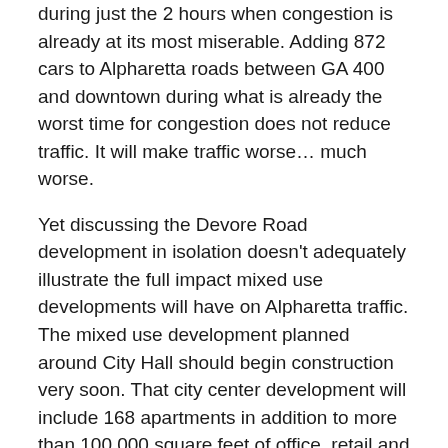during just the 2 hours when congestion is already at its most miserable. Adding 872 cars to Alpharetta roads between GA 400 and downtown during what is already the worst time for congestion does not reduce traffic. It will make traffic worse… much worse.
Yet discussing the Devore Road development in isolation doesn't adequately illustrate the full impact mixed use developments will have on Alpharetta traffic. The mixed use development planned around City Hall should begin construction very soon. That city center development will include 168 apartments in addition to more than 100,000 square feet of office, retail and restaurant space. The traffic study performed for City Center estimates it will add an additional 5,893 car trips per day to downtown congestion including 880 more cars added during just the two peak rush hours.